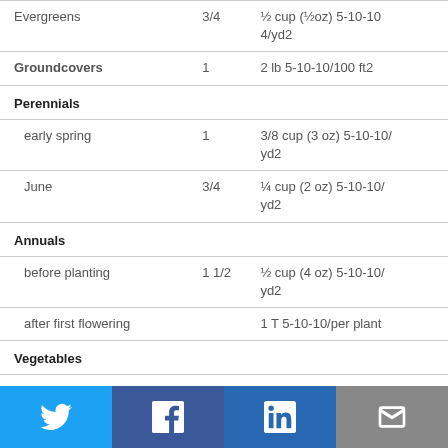| Plant Type | Applications per year | Amount |
| --- | --- | --- |
| Evergreens | 3/4 | ½ cup (½oz) 5-10-10 4/yd2 |
| Groundcovers | 1 | 2 lb 5-10-10/100 ft2 |
| Perennials |  |  |
| early spring | 1 | 3/8 cup (3 oz) 5-10-10/yd2 |
| June | 3/4 | ¼ cup (2 oz) 5-10-10/yd2 |
| Annuals |  |  |
| before planting | 1 1/2 | ½ cup (4 oz) 5-10-10/yd2 |
| after first flowering |  | 1 T 5-10-10/per plant |
| Vegetables |  |  |
| before planting | 1 | 1 lb 10-10-10/ 100 ft2 |
| at transplanting |  | ¼ cup (4 oz) 10-10-10 plant |
[Figure (infographic): Social media share bar with Twitter, Facebook, LinkedIn, and email icons]